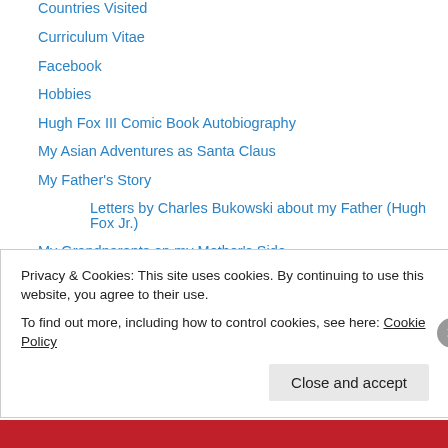Countries Visited
Curriculum Vitae
Facebook
Hobbies
Hugh Fox III Comic Book Autobiography
My Asian Adventures as Santa Claus
My Father's Story
Letters by Charles Bukowski about my Father (Hugh Fox Jr.)
My Grandparents on my Mother's Side
My Mother's Story
My Teaching Philosophy
Werefox Photos
About Me – Dissertation
Am I Kitsune?
Privacy & Cookies: This site uses cookies. By continuing to use this website, you agree to their use.
To find out more, including how to control cookies, see here: Cookie Policy
Close and accept